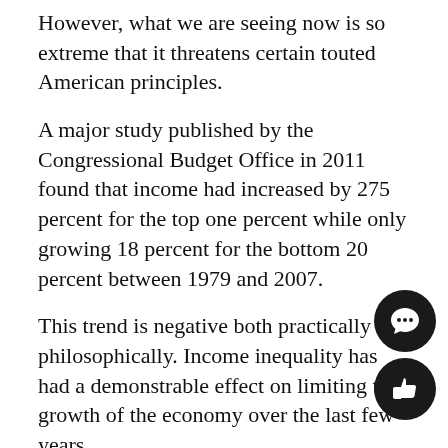However, what we are seeing now is so extreme that it threatens certain touted American principles.
A major study published by the Congressional Budget Office in 2011 found that income had increased by 275 percent for the top one percent while only growing 18 percent for the bottom 20 percent between 1979 and 2007.
This trend is negative both practically and philosophically. Income inequality has had a demonstrable effect on limiting the growth of the economy over the last few years.
A December 2013 survey of economists conducted by the Associated Press document some of the ways inequality inhibits economic